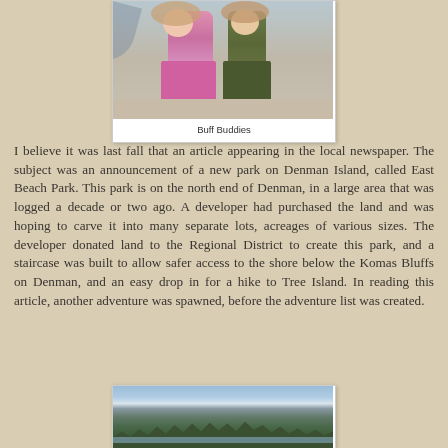[Figure (photo): Two girls standing on a sandy beach with driftwood in the background. One wearing a pink GAP hoodie and pink pants, the other in an olive/army green outfit.]
Buff Buddies
I believe it was last fall that an article appearing in the local newspaper. The subject was an announcement of a new park on Denman Island, called East Beach Park. This park is on the north end of Denman, in a large area that was logged a decade or two ago. A developer had purchased the land and was hoping to carve it into many separate lots, acreages of various sizes. The developer donated land to the Regional District to create this park, and a staircase was built to allow safer access to the shore below the Komas Bluffs on Denman, and an easy drop in for a hike to Tree Island. In reading this article, another adventure was spawned, before the adventure list was created.
[Figure (photo): A landscape photo showing a treeline of tall evergreen conifers against a partly cloudy sky, with what appears to be water or shoreline in the foreground.]